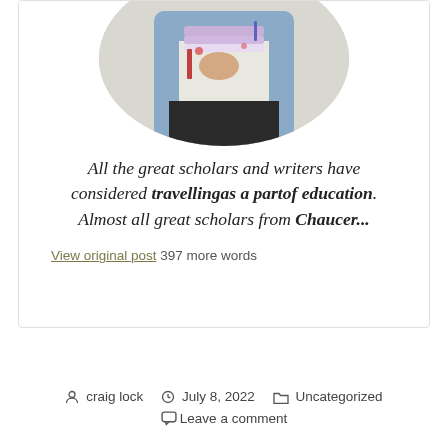[Figure (photo): Circular cropped photo of a person holding books and binders, wearing a denim jacket]
All the great scholars and writers have considered travellingas a partof education. Almost all great scholars from Chaucer...
View original post 397 more words
craig lock   July 8, 2022   Uncategorized   Leave a comment